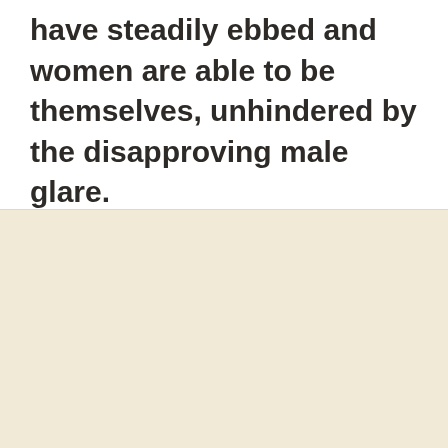have steadily ebbed and women are able to be themselves, unhindered by the disapproving male glare.